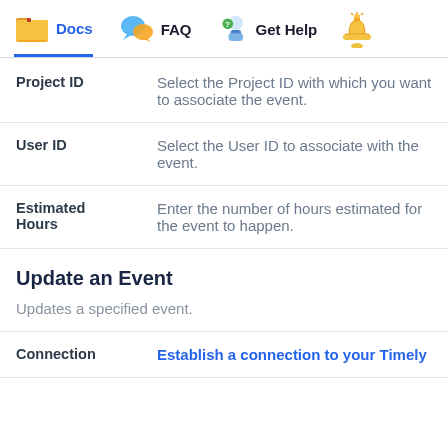Docs  FAQ  Get Help
| Field | Description |
| --- | --- |
| Project ID | Select the Project ID with which you want to associate the event. |
| User ID | Select the User ID to associate with the event. |
| Estimated Hours | Enter the number of hours estimated for the event to happen. |
Update an Event
Updates a specified event.
| Field | Description |
| --- | --- |
| Connection | Establish a connection to your Timely |